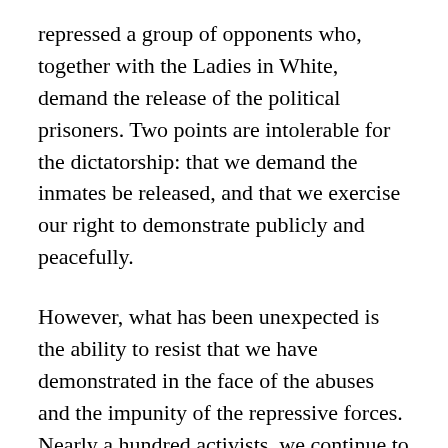repressed a group of opponents who, together with the Ladies in White, demand the release of the political prisoners. Two points are intolerable for the dictatorship: that we demand the inmates be released, and that we exercise our right to demonstrate publicly and peacefully.
However, what has been unexpected is the ability to resist that we have demonstrated in the face of the abuses and the impunity of the repressive forces. Nearly a hundred activists, we continue to attend despite the violence they impose on us. It is hard, but our rights are worth it. We don't know how many more Sundays of abuse and outrages await us, but we